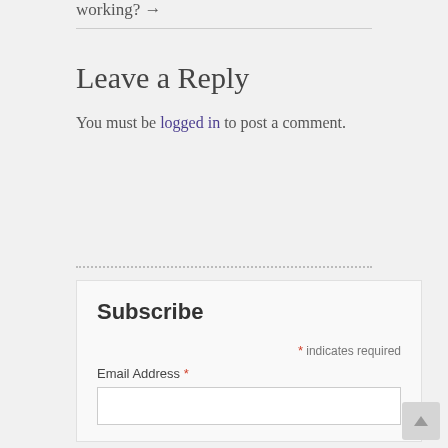working? →
Leave a Reply
You must be logged in to post a comment.
Subscribe
* indicates required
Email Address *